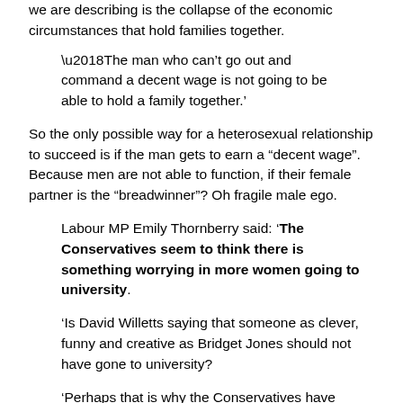we are describing is the collapse of the economic circumstances that hold families together.
‘The man who can’t go out and command a decent wage is not going to be able to hold a family together.’
So the only possible way for a heterosexual relationship to succeed is if the man gets to earn a “decent wage”. Because men are not able to function, if their female partner is the “breadwinner”? Oh fragile male ego.
Labour MP Emily Thornberry said: ‘The Conservatives seem to think there is something worrying in more women going to university.
‘Is David Willetts saying that someone as clever, funny and creative as Bridget Jones should not have gone to university?
‘Perhaps that is why the Conservatives have refused to support Labour’s aim that 50 per cent of young